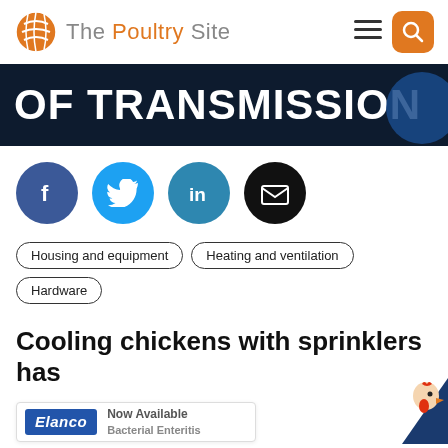The Poultry Site
[Figure (screenshot): Dark navy banner with large bold white text 'OF TRANSMISSION' and a blue circular logo element on the right]
[Figure (infographic): Row of four social media icon circles: Facebook (dark blue), Twitter (light blue), LinkedIn (teal), Email (black)]
Housing and equipment
Heating and ventilation
Hardware
Cooling chickens with sprinklers has no detrimental effect on carcass quality
many producers find difficult to accept.